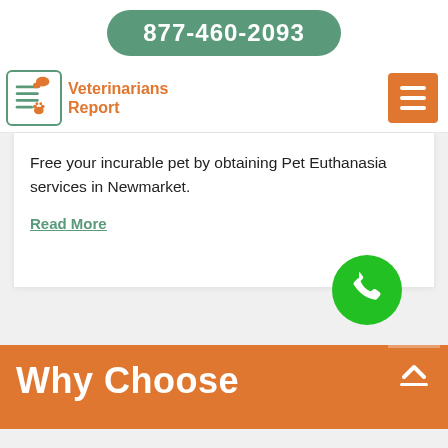877-460-2093
[Figure (logo): Veterinarians Report logo with document and paw print icon]
[Figure (other): Orange hamburger menu button with three white lines]
Free your incurable pet by obtaining Pet Euthanasia services in Newmarket.
Read More
[Figure (other): Green circular phone call button]
Why Choose